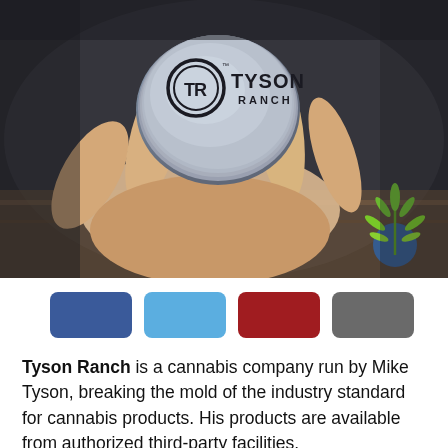[Figure (photo): A hand holding a round gray Tyson Ranch branded cannabis grinder/container. The grinder has the TR logo and 'TYSON RANCH' text on top. A cannabis leaf logo with blue circle is visible in the lower right corner of the photo.]
[Figure (infographic): Four color swatches in a row: dark blue, light blue, dark red, and gray.]
Tyson Ranch is a cannabis company run by Mike Tyson, breaking the mold of the industry standard for cannabis products. His products are available from authorized third-party facilities.